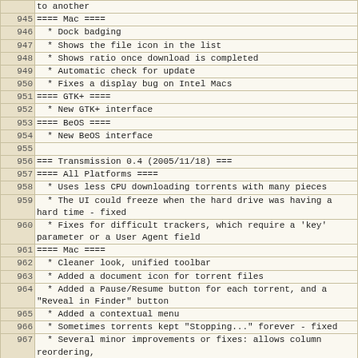| line | content |
| --- | --- |
|  | to another |
| 945 | ==== Mac ==== |
| 946 |   * Dock badging |
| 947 |   * Shows the file icon in the list |
| 948 |   * Shows ratio once download is completed |
| 949 |   * Automatic check for update |
| 950 |   * Fixes a display bug on Intel Macs |
| 951 | ==== GTK+ ==== |
| 952 |   * New GTK+ interface |
| 953 | ==== BeOS ==== |
| 954 |   * New BeOS interface |
| 955 |  |
| 956 | === Transmission 0.4 (2005/11/18) === |
| 957 | ==== All Platforms ==== |
| 958 |   * Uses less CPU downloading torrents with many pieces |
| 959 |   * The UI could freeze when the hard drive was having a hard time - fixed |
| 960 |   * Fixes for difficult trackers, which require a 'key' parameter or a User Agent field |
| 961 | ==== Mac ==== |
| 962 |   * Cleaner look, unified toolbar |
| 963 |   * Added a document icon for torrent files |
| 964 |   * Added a Pause/Resume button for each torrent, and a "Reveal in Finder" button |
| 965 |   * Added a contextual menu |
| 966 |   * Sometimes torrents kept "Stopping..." forever - fixed |
| 967 |   * Several minor improvements or fixes: allows column reordering, |
| 968 |       fixed resizing on Panther, remember the position of the window, |
| 969 |       fixed display of Unicode filenames, added menubar items and |